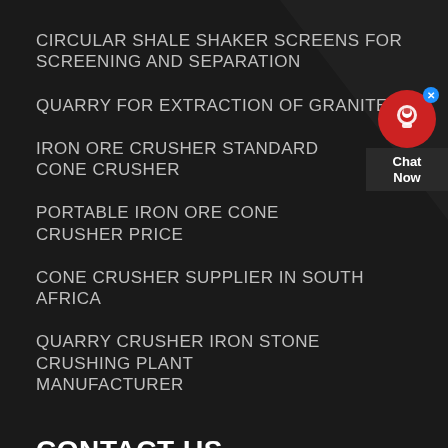CIRCULAR SHALE SHAKER SCREENS FOR SCREENING AND SEPARATION
QUARRY FOR EXTRACTION OF GRANITE
IRON ORE CRUSHER STANDARD CONE CRUSHER
PORTABLE IRON ORE CONE CRUSHER PRICE
CONE CRUSHER SUPPLIER IN SOUTH AFRICA
QUARRY CRUSHER IRON STONE CRUSHING PLANT MANUFACTURER
[Figure (infographic): Live chat widget with red circular avatar icon, blue close button, and dark 'Chat Now' label panel]
CONTACT US
Thank you for your interest in Liming Heavy Industry